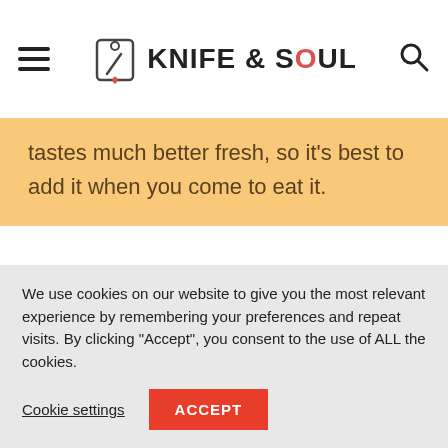KNIFE & SOUL
tastes much better fresh, so it's best to add it when you come to eat it.
☺ Check out my other
We use cookies on our website to give you the most relevant experience by remembering your preferences and repeat visits. By clicking "Accept", you consent to the use of ALL the cookies.
Cookie settings  ACCEPT